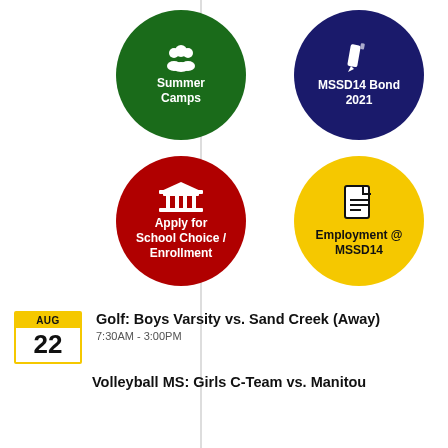[Figure (infographic): Four circular icon buttons arranged in a 2x2 grid. Top-left: green circle with people/group icon and text 'Summer Camps'. Top-right: navy/dark blue circle with pencil icon and text 'MSSD14 Bond 2021'. Bottom-left: red circle with pillared building icon and text 'Apply for School Choice / Enrollment'. Bottom-right: yellow circle with document icon and text 'Employment @ MSSD14'.]
Golf: Boys Varsity vs. Sand Creek (Away)
7:30AM - 3:00PM
AUG 22
Volleyball MS: Girls C-Team vs. Manitou